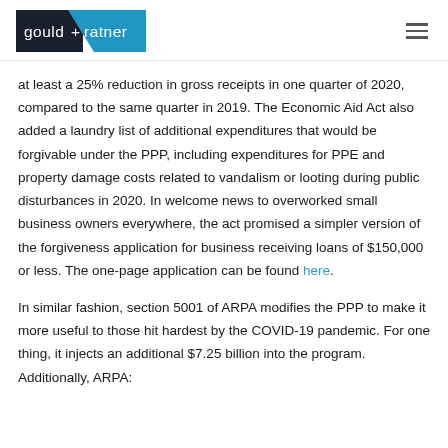gould + ratner
at least a 25% reduction in gross receipts in one quarter of 2020, compared to the same quarter in 2019. The Economic Aid Act also added a laundry list of additional expenditures that would be forgivable under the PPP, including expenditures for PPE and property damage costs related to vandalism or looting during public disturbances in 2020. In welcome news to overworked small business owners everywhere, the act promised a simpler version of the forgiveness application for business receiving loans of $150,000 or less. The one-page application can be found here.
In similar fashion, section 5001 of ARPA modifies the PPP to make it more useful to those hit hardest by the COVID-19 pandemic. For one thing, it injects an additional $7.25 billion into the program. Additionally, ARPA: